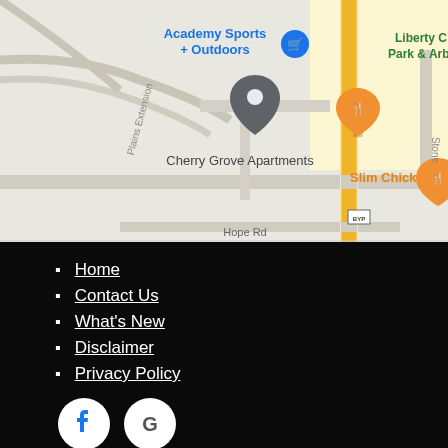[Figure (map): Google Maps screenshot showing Cherry Grove Apartments location with a map pin, nearby Academy Sports + Outdoors, Slim Chickens restaurant, Liberty Park & Arboretum, and Hope Rd visible.]
Home
Contact Us
What's New
Disclaimer
Privacy Policy
[Figure (logo): Facebook and Google social media icon circles in white on black background]